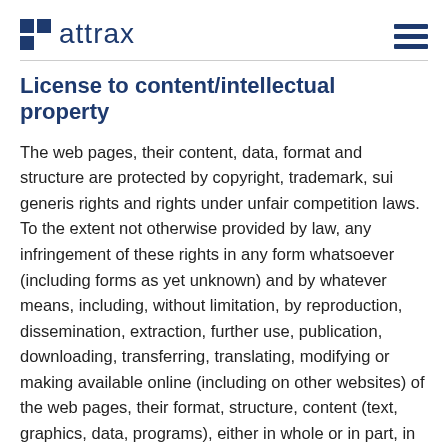attrax
License to content/intellectual property
The web pages, their content, data, format and structure are protected by copyright, trademark, sui generis rights and rights under unfair competition laws. To the extent not otherwise provided by law, any infringement of these rights in any form whatsoever (including forms as yet unknown) and by whatever means, including, without limitation, by reproduction, dissemination, extraction, further use, publication, downloading, transferring, translating, modifying or making available online (including on other websites) of the web pages, their format, structure, content (text, graphics, data, programs), either in whole or in part, in modified or unmodified form, is prohibited.